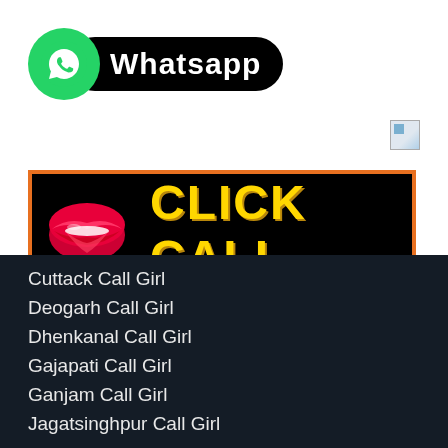[Figure (logo): WhatsApp logo badge with green circle icon and black pill-shaped label reading Whatsapp]
[Figure (illustration): Broken image placeholder icon (small square with colored triangle)]
[Figure (infographic): Black banner with orange border showing red lips emoji and yellow bold text CLICK CALL]
[Figure (infographic): Blue hamburger menu icon (three horizontal lines)]
Cuttack Call Girl
Deogarh Call Girl
Dhenkanal Call Girl
Gajapati Call Girl
Ganjam Call Girl
Jagatsinghpur Call Girl